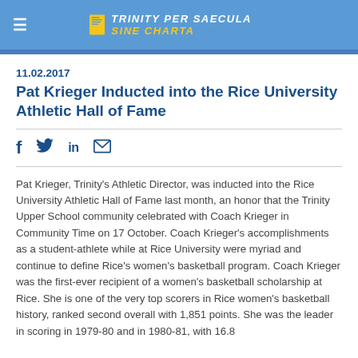TRINITY PER SAECULA SINE CHARTA
11.02.2017
Pat Krieger Inducted into the Rice University Athletic Hall of Fame
Pat Krieger, Trinity's Athletic Director, was inducted into the Rice University Athletic Hall of Fame last month, an honor that the Trinity Upper School community celebrated with Coach Krieger in Community Time on 17 October. Coach Krieger's accomplishments as a student-athlete while at Rice University were myriad and continue to define Rice's women's basketball program. Coach Krieger was the first-ever recipient of a women's basketball scholarship at Rice. She is one of the very top scorers in Rice women's basketball history, ranked second overall with 1,851 points. She was the leader in scoring in 1979-80 and in 1980-81, with 16.8